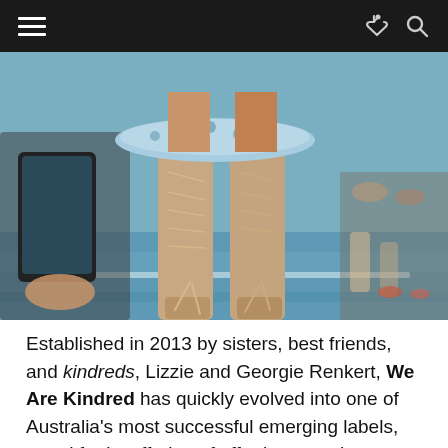≡  ↩ 🔍
[Figure (photo): Close-up photograph of a model's legs wearing knee-high lace-up suede boots walking on a blue runway, with a floral blue and white dress and audience in background.]
Established in 2013 by sisters, best friends, and kindreds, Lizzie and Georgie Renkert, We Are Kindred has quickly evolved into one of Australia's most successful emerging labels, noted for its offering of effortless, modern luxury with a twist of bohemia.